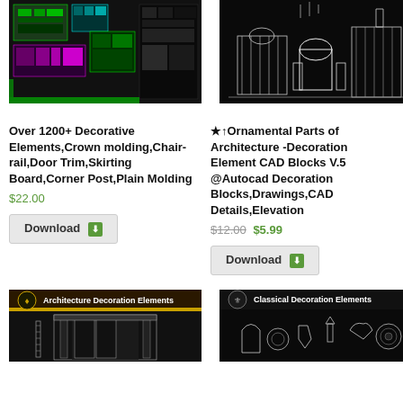[Figure (screenshot): CAD decorative elements product thumbnail - colorful AutoCAD drawing with architectural blocks in green, purple, cyan on black background]
Over 1200+ Decorative Elements,Crown molding,Chair-rail,Door Trim,Skirting Board,Corner Post,Plain Molding
$22.00
Download
[Figure (screenshot): CAD ornamental architecture parts thumbnail - white line drawings of classical buildings including domes and towers on black background]
★↑Ornamental Parts of Architecture -Decoration Element CAD Blocks V.5 @Autocad Decoration Blocks,Drawings,CAD Details,Elevation
$12.00 $5.99
Download
[Figure (screenshot): Architecture Decoration Elements product thumbnail with golden banner text and architectural door/column details]
[Figure (screenshot): Classical Decoration Elements product thumbnail with ornamental badges, medallions, and classical architectural ornaments on black background]